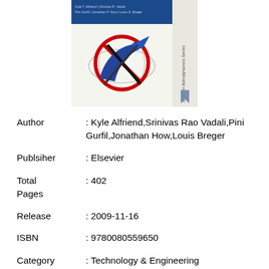[Figure (illustration): Book cover image showing a spacecraft orbit diagram with a red circle and blue/black arrows on a white/blue background, with 'Elsevier Astrodynamics Series' text on the side spine area.]
| Author | : Kyle Alfriend,Srinivas Rao Vadali,Pini Gurfil,Jonathan How,Louis Breger |
| Publsiher | : Elsevier |
| Total Pages | : 402 |
| Release | : 2009-11-16 |
| ISBN | : 9780080559650 |
| Category | : Technology & Engineering |